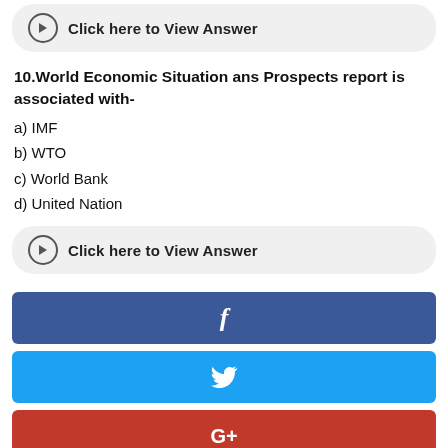Click here to View Answer
10.World Economic Situation ans Prospects report is associated with-
a) IMF
b) WTO
c) World Bank
d) United Nation
Click here to View Answer
[Figure (other): Facebook share button (blue)]
[Figure (other): Twitter share button (light blue)]
[Figure (other): Google+ share button (red)]
[Figure (other): WhatsApp share button (green, partially visible)]